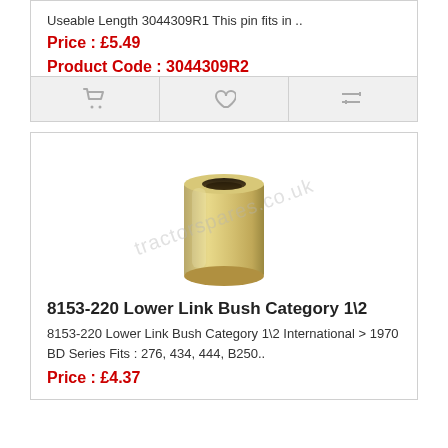Useable Length 3044309R1 This pin fits in ..
Price : £5.49
Product Code : 3044309R2
[Figure (photo): Photo of a metal cylindrical lower link bush with hollow centre, silver/gold zinc-plated finish]
8153-220 Lower Link Bush Category 1\2
8153-220 Lower Link Bush Category 1\2 International > 1970 BD Series Fits : 276, 434, 444, B250..
Price : £4.37